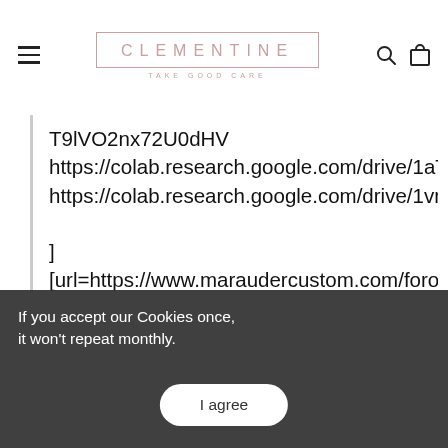CLEMENTINE — TAKE GOOD CARE
T9lVO2nx72U0dHV https://colab.research.google.com/drive/1aTwKNJTM7uRN27oGwl_YayElhTIBYppQ https://colab.research.google.com/drive/1vnAzE8atY3BfVMzBJrX_leHLSO8dWehb
]
[url=https://www.maraudercustom.com/foro/viewtopic.php?f=15&t=15905&p=215894#p215894]1734698[/url] [url=https://vermadeals.com/5g-ro...in-a-month-centre/#comment-
If you accept our Cookies once, it won't repeat monthly.